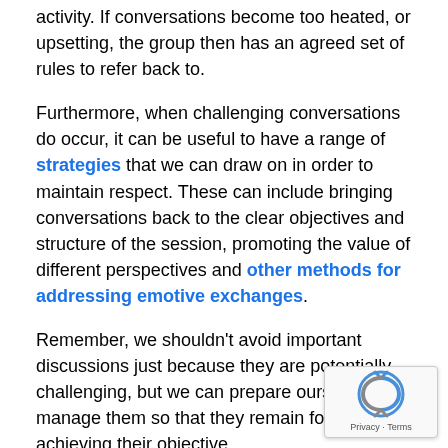activity. If conversations become too heated, or upsetting, the group then has an agreed set of rules to refer back to.
Furthermore, when challenging conversations do occur, it can be useful to have a range of strategies that we can draw on in order to maintain respect. These can include bringing conversations back to the clear objectives and structure of the session, promoting the value of different perspectives and other methods for addressing emotive exchanges.
Remember, we shouldn't avoid important discussions just because they are potentially challenging, but we can prepare ourselves to manage them so that they remain focused on achieving their objective.
Thanks to The Teaching Center at Washington University in St. Louis for their resource, 'Establishing